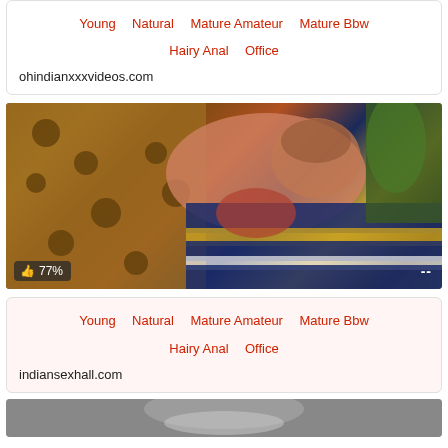Young    Natural    Mature Amateur    Mature Bbw    Hairy Anal    Office
ohindianxxxvideos.com
[Figure (photo): Video thumbnail showing people in colorful clothing outdoors with a like badge showing 77%]
Young    Natural    Mature Amateur    Mature Bbw    Hairy Anal    Office
indiansexhall.com
[Figure (photo): Partial video thumbnail at bottom of page]